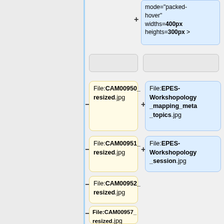[Figure (screenshot): A diff/comparison view showing a wiki gallery markup editor with file entries. Left gray panel, right panel with blue and yellow rounded boxes showing filenames. Blue box at top shows code: mode="packed-hover" widths=400px heights=300px >. Yellow boxes (left column) show: File:CAM00950_resized.jpg, File:CAM00951_resized.jpg, File:CAM00952_resized.jpg, File:CAM00957_resized.jpg, File:CAM00958_resized.jpg. Blue boxes (right column) show: File:EPES-Workshopology_mapping_meta_topics.jpg, File:EPES-Workshopology_session.jpg. Minus signs on left column, plus signs on right column.]